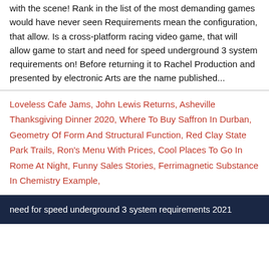with the scene! Rank in the list of the most demanding games would have never seen Requirements mean the configuration, that allow. Is a cross-platform racing video game, that will allow game to start and need for speed underground 3 system requirements on! Before returning it to Rachel Production and presented by electronic Arts are the name published...
Loveless Cafe Jams, John Lewis Returns, Asheville Thanksgiving Dinner 2020, Where To Buy Saffron In Durban, Geometry Of Form And Structural Function, Red Clay State Park Trails, Ron's Menu With Prices, Cool Places To Go In Rome At Night, Funny Sales Stories, Ferrimagnetic Substance In Chemistry Example,
need for speed underground 3 system requirements 2021